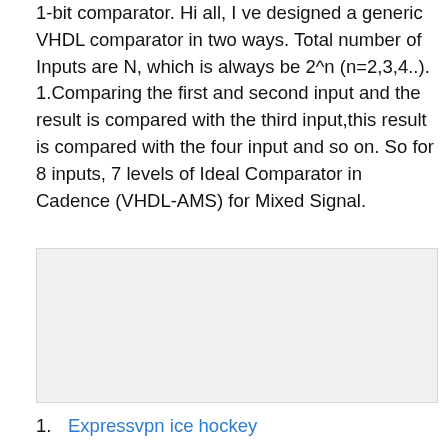1-bit comparator. Hi all, I ve designed a generic VHDL comparator in two ways. Total number of Inputs are N, which is always be 2^n (n=2,3,4..). 1.Comparing the first and second input and the result is compared with the third input,this result is compared with the four input and so on. So for 8 inputs, 7 levels of Ideal Comparator in Cadence (VHDL-AMS) for Mixed Signal.
[Figure (other): Gray advertisement placeholder box]
Expressvpn ice hockey
Jaycutler.com promo code